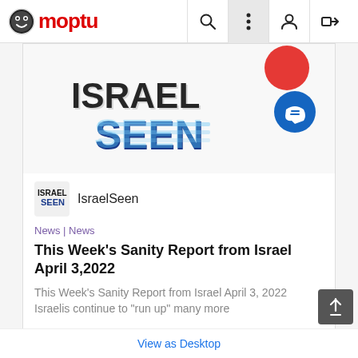Moptu
[Figure (screenshot): IsraelSeen logo banner with large stylized blue text 'ISRAEL SEEN' on white background with red and blue circle accents]
IsraelSeen
News | News
This Week's Sanity Report from Israel April 3,2022
This Week's Sanity Report from Israel April 3, 2022 Israelis continue to "run up" many more
View Comments
educaton   goodnews   innovation   ...
View as Desktop